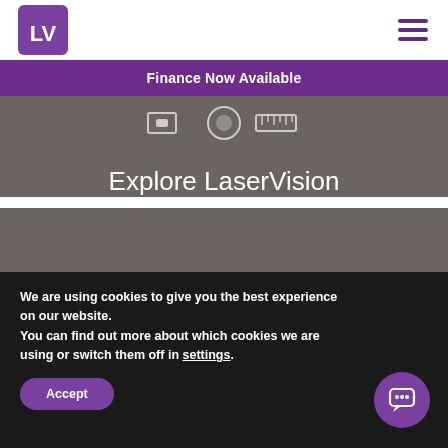LV LaserVision - Finance Now Available
[Figure (logo): LV logo - purple square with white LV letters]
[Figure (infographic): Navigation icons (eye, lens, ruler) on dark grey background]
Explore LaserVision
Head Office
We are using cookies to give you the best experience on our website.
You can find out more about which cookies we are using or switch them off in settings.
Accept
[Figure (illustration): Chat/message bubble icon in purple circle]